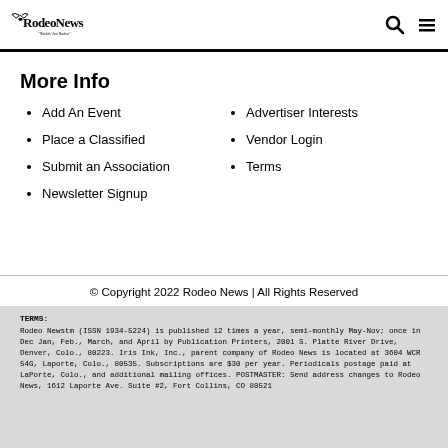Rodeo News
More Info
Add An Event
Advertiser Interests
Place a Classified
Vendor Login
Submit an Association
Terms
Newsletter Signup
© Copyright 2022 Rodeo News | All Rights Reserved
TERMS: Rodeo Newstm (ISSN 1934-5224) is published 12 times a year, semi-monthly May-Nov; once in Dec Jan, Feb., March, and April by Publication Printers, 2001 S. Platte River Drive, Denver, Colo., 80223. Iris Ink, Inc., parent company of Rodeo News is located at 3604 WCR 54G, Laporte, Colo., 80535. Subscriptions are $30 per year. Periodicals postage paid at LaPorte, Colo., and additional mailing offices. POSTMASTER: Send address changes to Rodeo News, 1612 Laporte Ave. Suite #2, Fort Collins, CO 80521